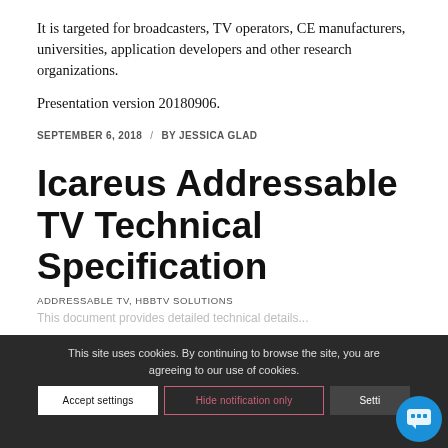It is targeted for broadcasters, TV operators, CE manufacturers, universities, application developers and other research organizations.
Presentation version 20180906.
SEPTEMBER 6, 2018 / BY JESSICA GLAD
Icareus Addressable TV Technical Specification
ADDRESSABLE TV, HBBTV SOLUTIONS
This site uses cookies. By continuing to browse the site, you are agreeing to our use of cookies.
This document provides detailed technical details...